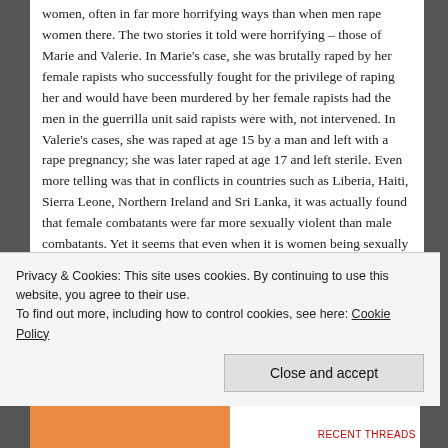women, often in far more horrifying ways than when men rape women there. The two stories it told were horrifying – those of Marie and Valerie. In Marie's case, she was brutally raped by her female rapists who successfully fought for the privilege of raping her and would have been murdered by her female rapists had the men in the guerrilla unit said rapists were with, not intervened. In Valerie's cases, she was raped at age 15 by a man and left with a rape pregnancy; she was later raped at age 17 and left sterile. Even more telling was that in conflicts in countries such as Liberia, Haiti, Sierra Leone, Northern Ireland and Sri Lanka, it was actually found that female combatants were far more sexually violent than male combatants. Yet it seems that even when it is women being sexually violated
Privacy & Cookies: This site uses cookies. By continuing to use this website, you agree to their use.
To find out more, including how to control cookies, see here: Cookie Policy
Close and accept